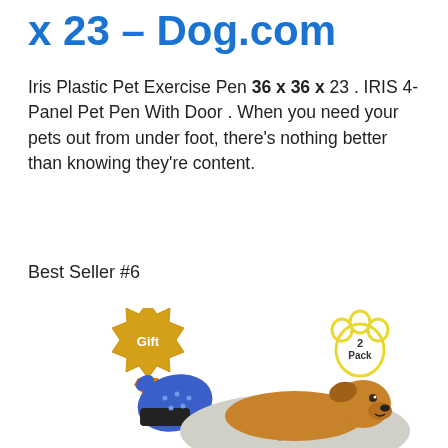x 23 – Dog.com
Iris Plastic Pet Exercise Pen 36 x 36 x 23 . IRIS 4-Panel Pet Pen With Door . When you need your pets out from under foot, there's nothing better than knowing they're content.
Best Seller #6
[Figure (photo): Product image showing a pet grooming glove with a gold 'Gift' badge on left, a dog lying on a paw-print mat on right with a yellow '2 Pack' paw badge.]